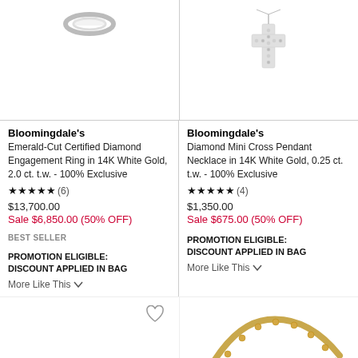[Figure (photo): Partial product image of an engagement ring (top cropped), left column]
[Figure (photo): Diamond mini cross pendant necklace on white background, right column]
Bloomingdale's
Emerald-Cut Certified Diamond Engagement Ring in 14K White Gold, 2.0 ct. t.w. - 100% Exclusive
★★★★★ (6)
$13,700.00
Sale $6,850.00 (50% OFF)
BEST SELLER
PROMOTION ELIGIBLE: DISCOUNT APPLIED IN BAG
More Like This
Bloomingdale's
Diamond Mini Cross Pendant Necklace in 14K White Gold, 0.25 ct. t.w. - 100% Exclusive
★★★★★ (4)
$1,350.00
Sale $675.00 (50% OFF)
PROMOTION ELIGIBLE: DISCOUNT APPLIED IN BAG
More Like This
[Figure (photo): Silver chain bracelet/necklace product image, bottom left]
[Figure (photo): Gold tennis bracelet product image, bottom right]